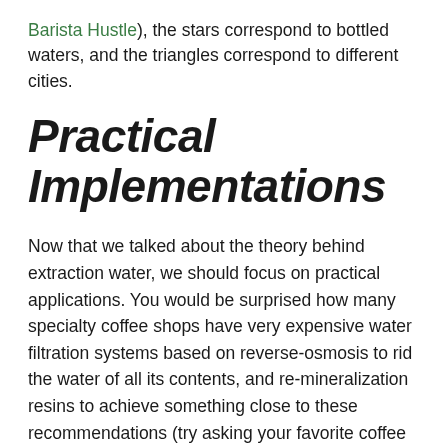Barista Hustle), the stars correspond to bottled waters, and the triangles correspond to different cities.
Practical Implementations
Now that we talked about the theory behind extraction water, we should focus on practical applications. You would be surprised how many specialty coffee shops have very expensive water filtration systems based on reverse-osmosis to rid the water of all its contents, and re-mineralization resins to achieve something close to these recommendations (try asking your favorite coffee shop).
At home however, none of this is really practical, as